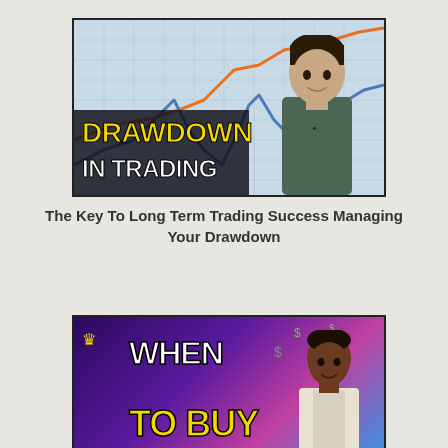[Figure (illustration): Video thumbnail showing a line chart with orange and blue lines on a grid background, a young man in a grey t-shirt, bold yellow text reading DRAWDOWN and white text reading IN TRADING]
The Key To Long Term Trading Success Managing Your Drawdown
[Figure (illustration): Video thumbnail with colorful purple/pink/blue background, a crown logo, bold white text WHEN and yellow text TO BUY, and a young man on the right side]